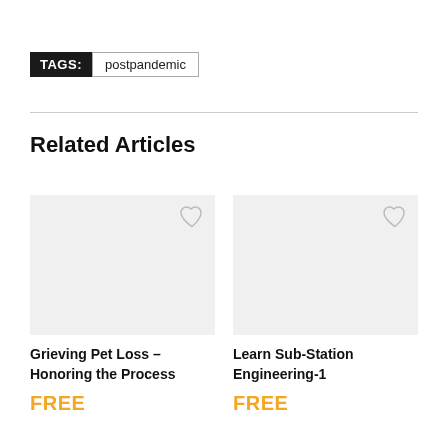TAGS: postpandemic
Related Articles
Grieving Pet Loss – Honoring the Process
FREE
Learn Sub-Station Engineering-1
FREE